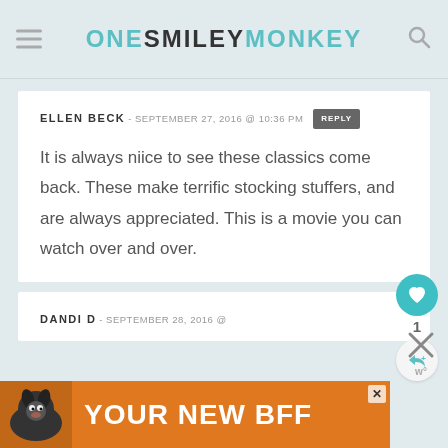ONE SMILEY MONKEY
ELLEN BECK - SEPTEMBER 27, 2016 @ 10:36 PM  REPLY

It is always niice to see these classics come back. These make terrific stocking stuffers, and are always appreciated. This is a movie you can watch over and over.
DANDI D - SEPTEMBER 28, 2016 @
[Figure (infographic): Advertisement banner with orange background, dog image on left and text YOUR NEW BFF in white bold letters]